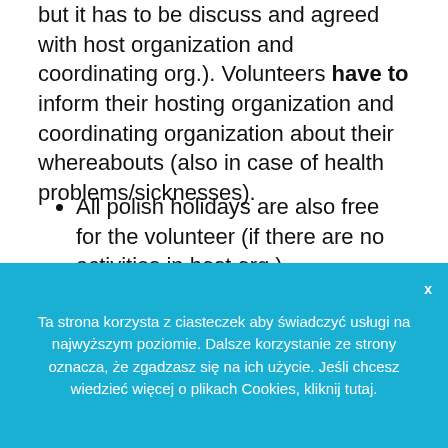but it has to be discuss and agreed with host organization and coordinating org.). Volunteers have to inform their hosting organization and coordinating organization about their whereabouts (also in case of health problems/sicknesses).
All polish holidays are also free for the volunteer (if there are no activities in host org.)
Food:
Volunteers will get money for food every month
Ta strona korzysta z ciasteczek aby świadczyć usługi na najwyższym poziomie. Dalsze korzystanie ze strony oznacza, że zgadzasz się na ich użycie. Jeśli chcesz wiedzieć więcej o plikach Cookies, kliknij tutaj.